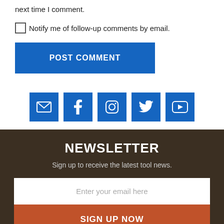next time I comment.
Notify me of follow-up comments by email.
POST COMMENT
[Figure (infographic): Row of five blue social media icon buttons: email/envelope, Facebook, Instagram, Twitter, YouTube]
NEWSLETTER
Sign up to receive the latest tool news.
Enter your email here
SIGN UP NOW